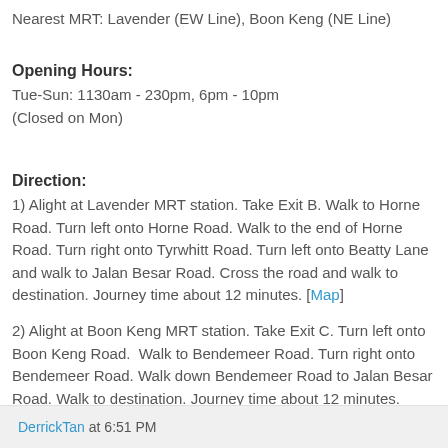Nearest MRT: Lavender (EW Line), Boon Keng (NE Line)
Opening Hours:
Tue-Sun: 1130am - 230pm, 6pm - 10pm
(Closed on Mon)
Direction:
1) Alight at Lavender MRT station. Take Exit B. Walk to Horne Road. Turn left onto Horne Road. Walk to the end of Horne Road. Turn right onto Tyrwhitt Road. Turn left onto Beatty Lane and walk to Jalan Besar Road. Cross the road and walk to destination. Journey time about 12 minutes. [Map]
2) Alight at Boon Keng MRT station. Take Exit C. Turn left onto Boon Keng Road.  Walk to Bendemeer Road. Turn right onto Bendemeer Road. Walk down Bendemeer Road to Jalan Besar Road. Walk to destination. Journey time about 12 minutes. [Map]
DerrickTan at 6:51 PM